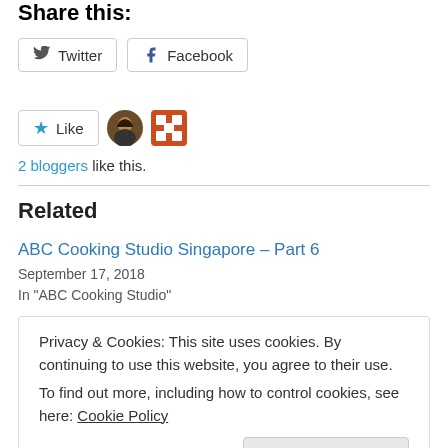Share this:
[Figure (other): Twitter and Facebook share buttons]
[Figure (other): Like button with 2 blogger avatars]
2 bloggers like this.
Related
ABC Cooking Studio Singapore – Part 6
September 17, 2018
In "ABC Cooking Studio"
ABC Cooking Studio – Part 4
Privacy & Cookies: This site uses cookies. By continuing to use this website, you agree to their use.
To find out more, including how to control cookies, see here: Cookie Policy